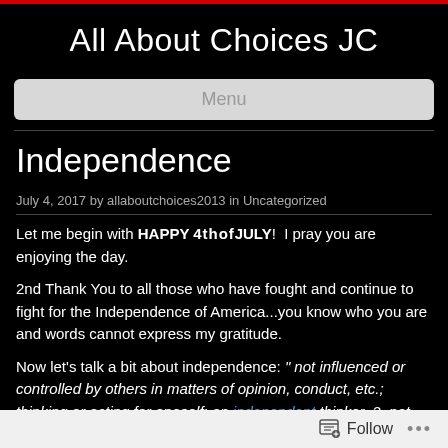All About Choices JC
Menu
Independence
July 4, 2017 by allaboutchoices2013 in Uncategorized
Let me begin with HAPPY 4th of JULY!  I pray you are enjoying the day.
2nd Thank You to all those who have fought and continue to fight for the Independence of America...you know who you are and words cannot express my gratitude.
Now let's talk a bit about independence: " not influenced or controlled by others in matters of opinion, conduct, etc.; thinking or acting for oneself: an independent thinker. 2. not subject to another's authority or
Follow ...